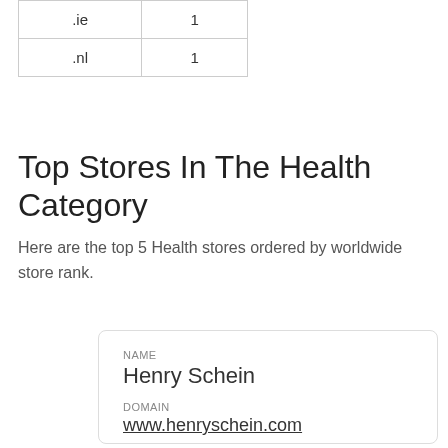| .ie | 1 |
| .nl | 1 |
Top Stores In The Health Category
Here are the top 5 Health stores ordered by worldwide store rank.
| NAME | Henry Schein | DOMAIN | www.henryschein.com | RANK | 757 | CREATED | 2016/12/30 |
| --- | --- | --- | --- | --- | --- | --- | --- |